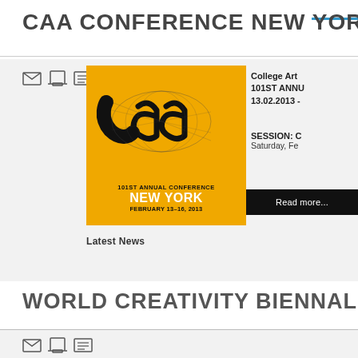CAA CONFERENCE NEW YORK
[Figure (logo): CAA 101st Annual Conference New York, February 13-16, 2013 logo on gold/yellow background]
College Art 101ST ANNU 13.02.2013 -
SESSION: C
Saturday, Fe
Read more...
Latest News
WORLD CREATIVITY BIENNALE, RIO DE